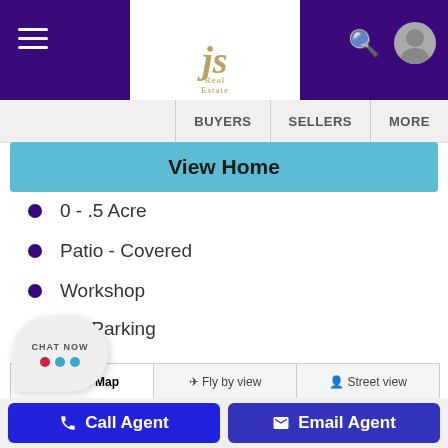JS Real Estate — navigation header with BUYERS, SELLERS, MORE
View Home
0 - .5 Acre
Patio - Covered
Workshop
RV Parking
[Figure (map): Road map showing Howle Ave with tabs: Road Map, Fly by view, Street view]
Call Agent | Email Agent